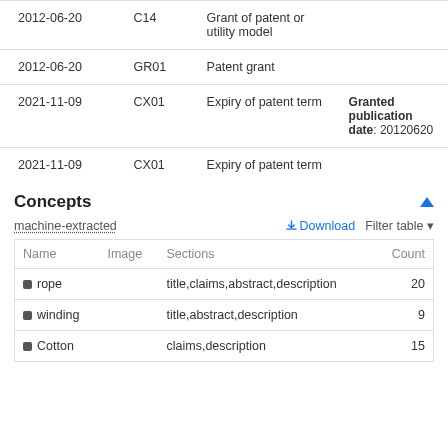| Date | Code | Description | Notes |
| --- | --- | --- | --- |
| 2012-06-20 | C14 | Grant of patent or utility model |  |
| 2012-06-20 | GR01 | Patent grant |  |
| 2021-11-09 | CX01 | Expiry of patent term | Granted publication date: 20120620 |
| 2021-11-09 | CX01 | Expiry of patent term |  |
Concepts
machine-extracted
| Name | Image | Sections | Count |
| --- | --- | --- | --- |
| rope |  | title,claims,abstract,description | 20 |
| winding |  | title,abstract,description | 9 |
| Cotton |  | claims,description | 15 |